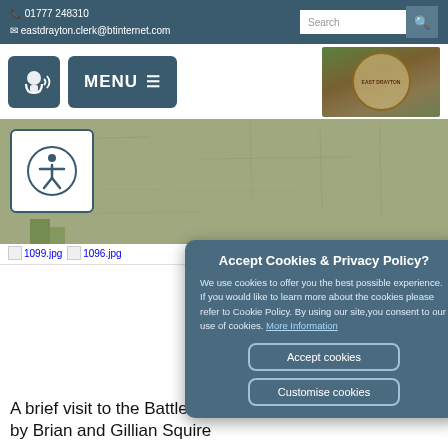01777 248310
eastdrayton.clerk@btinternet.com
[Figure (screenshot): Website navigation bar with speak button, MENU button, and village sign photo]
[Figure (photo): Stone wall banner image with accessibility icon overlay]
1099.jpg 1096.jpg
Accept Cookies & Privacy Policy?
We use cookies to offer you the best possible experience. If you would like to learn more about the cookies please refer to Cookie Policy. By using our site,you consent to our use of cookies. More Information
Accept cookies
Customise cookies
A brief visit to the Battlefield of the Somme in June 2014 by Brian and Gillian Squire